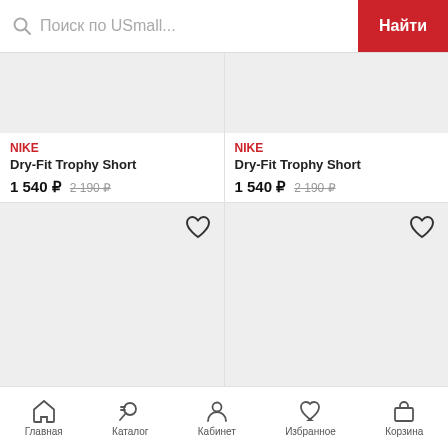Поиск по USmall...  Найти
[Figure (screenshot): Product image placeholder top-left (partially visible, gray background)]
[Figure (screenshot): Product image placeholder top-right (partially visible, gray background)]
NIKE
Dry-Fit Trophy Short
1 540 ₽  2 190 ₽
NIKE
Dry-Fit Trophy Short
1 540 ₽  2 190 ₽
[Figure (screenshot): Product image placeholder bottom-left with heart icon]
[Figure (screenshot): Product image placeholder bottom-right with heart icon]
Главная  Каталог  Кабинет  Избранное  Корзина